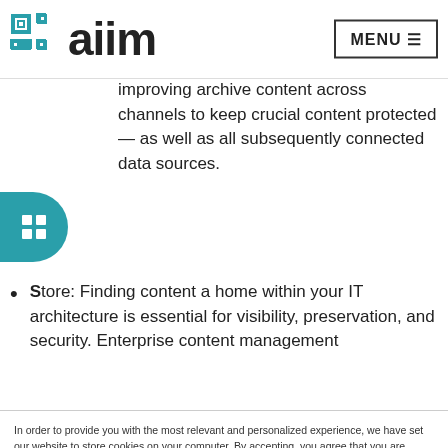aiim  MENU
content that requires few human touchpoints. or space in the cl... management invol... improving archive content across channels to keep crucial content protected — as well as all subsequently connected data sources.
Store: Finding content a home within your IT architecture is essential for visibility, preservation, and security. Enterprise content management
In order to provide you with the most relevant and personalized experience, we have set our website to store cookies on your computer. By accepting, you agree that you are happy for us to use these cookies. To find out more about the cookies we use, see our Privacy Policy.
Accept   Decline